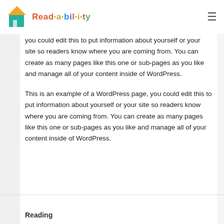Read·a·bil·i·ty
as you like and manage all of your content inside of WordPress. This is an example of a WordPress page, you could edit this to put information about yourself or your site so readers know where you are coming from. You can create as many pages like this one or sub-pages as you like and manage all of your content inside of WordPress.
This is an example of a WordPress page, you could edit this to put information about yourself or your site so readers know where you are coming from. You can create as many pages like this one or sub-pages as you like and manage all of your content inside of WordPress.
Reading